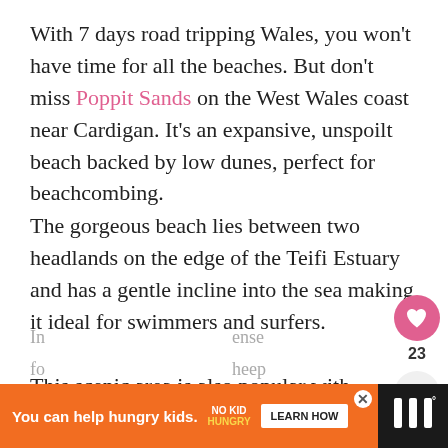With 7 days road tripping Wales, you won't have time for all the beaches. But don't miss Poppit Sands on the West Wales coast near Cardigan. It's an expansive, unspoilt beach backed by low dunes, perfect for beachcombing.
The gorgeous beach lies between two headlands on the edge of the Teifi Estuary and has a gentle incline into the sea making it ideal for swimmers and surfers.
This scenic area is also popular with hikers.
In... fo... (partial text obscured by ad banner)
[Figure (other): Ad banner: orange background with 'You can help hungry kids.' text, No Kid Hungry logo, Learn How button, and dark side panel with icon]